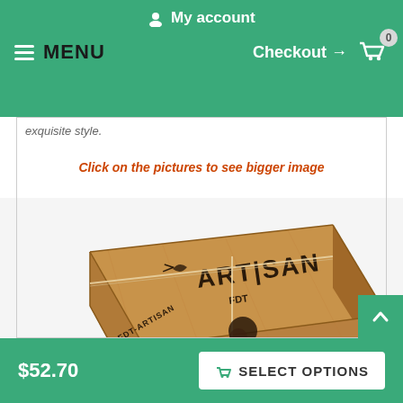My account  |  MENU  |  Checkout → 0
exquisite style.
Click on the pictures to see bigger image
[Figure (photo): Artisan FDT branded cardboard box tied with twine and a wax seal, with text 'ARTISAN FDT', 'WWW.FDT-ARTISAN...' and '...KE YOUR ART...' visible]
$52.70   SELECT OPTIONS